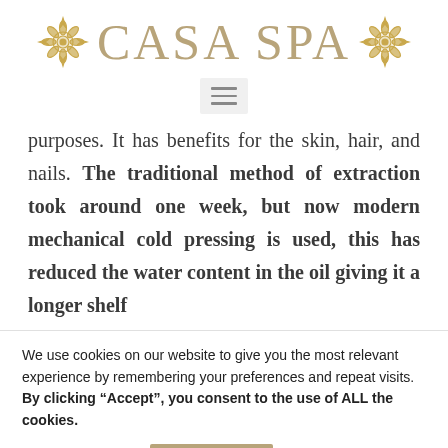[Figure (logo): CASA SPA logo with decorative gold ornamental floral designs on either side of the text]
[Figure (other): Hamburger menu button (three horizontal lines) on a light gray background]
purposes. It has benefits for the skin, hair, and nails. The traditional method of extraction took around one week, but now modern mechanical cold pressing is used, this has reduced the water content in the oil giving it a longer shelf
We use cookies on our website to give you the most relevant experience by remembering your preferences and repeat visits. By clicking “Accept”, you consent to the use of ALL the cookies.
Cookie settings  ACCEPT